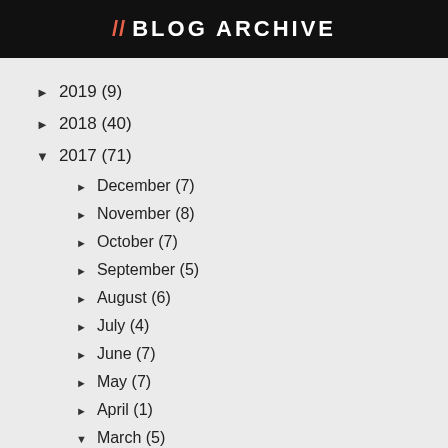// BLOG ARCHIVE
► 2019 (9)
► 2018 (40)
▼ 2017 (71)
► December (7)
► November (8)
► October (7)
► September (5)
► August (6)
► July (4)
► June (7)
► May (7)
► April (1)
▼ March (5)
Trip to the Zoo
I Want Something More (#TOTD)
Rick Something...